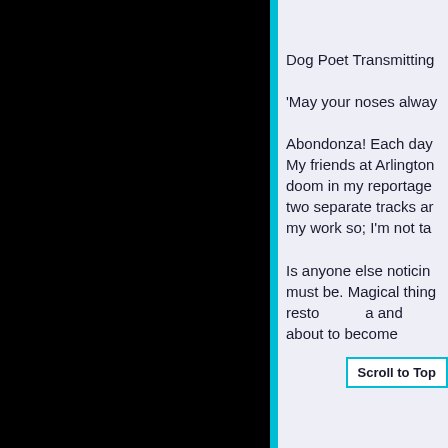Dog Poet Transmitting
'May your noses alway
Abondonza! Each day My friends at Arlington doom in my reportage two separate tracks ar my work so; I'm not ta
Is anyone else noticin must be. Magical thing resto a and about to become
Scroll to Top